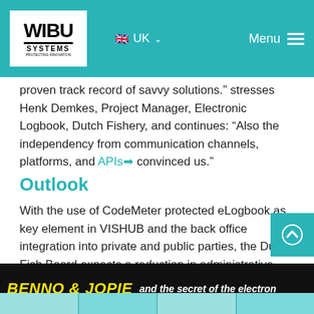WIBU SYSTEMS | UK | Menu
proven track record of savvy solutions.” stresses Henk Demkes, Project Manager, Electronic Logbook, Dutch Fishery, and continues: “Also the independency from communication channels, platforms, and APIs ➔ convinced us.”
Outlook
With the use of CodeMeter protected eLogbook as key element in VISHUB and the back office integration into private and public parties, the Dutch Fish Board expects a reduction in administrative costs by 4.1 Mio Euro. Also the idea is explored to export the model to other European countries.
[Figure (illustration): Benno & Jopie and the secret of the electron - comic strip banner at bottom of page]